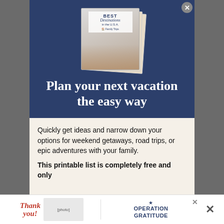[Figure (illustration): Book cover for 'Best Destinations in the U.S.A.' by The Family Trips, shown as stacked pages on a dark navy background]
Plan your next vacation the easy way
Quickly get ideas and narrow down your options for weekend getaways, road trips, or epic adventures with your family.
This printable list is completely free and only
[Figure (photo): Advertisement banner: 'Thank you!' with Operation Gratitude branding showing firefighters/military personnel]